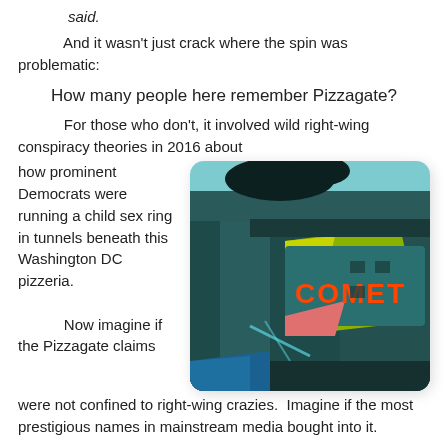said.
And it wasn't just crack where the spin was problematic:
How many people here remember Pizzagate?
For those who don't, it involved wild right-wing conspiracy theories in 2016 about
how prominent Democrats were running a child sex ring in tunnels beneath this Washington DC pizzeria.
[Figure (photo): Photo of a building with a neon sign reading 'COMET', taken from below against a teal/blue sky — the Comet Ping Pong pizzeria in Washington DC.]
Now imagine if the Pizzagate claims were not confined to right-wing crazies.  Imagine if the most prestigious names in mainstream media bought into it.